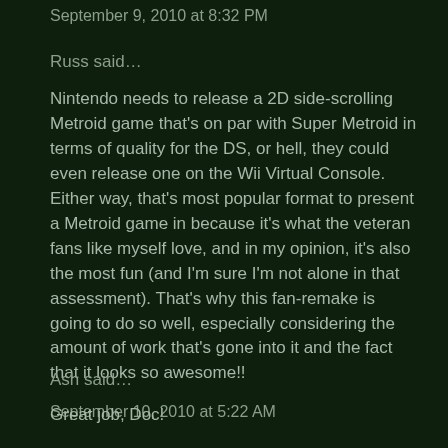September 9, 2010 at 8:32 PM
Russ said…
Nintendo needs to release a 2D side-scrolling Metroid game that's on par with Super Metroid in terms of quality for the DS, or hell, they could even release one on the Wii Virtual Console. Either way, that's most popular format to present a Metroid game in because it's what the veteran fans like myself love, and in my opinion, it's also the most fun (and I'm sure I'm not alone in that assessment). That's why this fan-remake is going to do so well, especially considering the amount of work that's gone into it and the fact that it looks so awesome!!
September 10, 2010 at 5:22 AM
Ash said…
Great job, Doc!